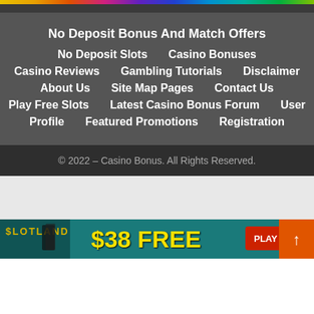No Deposit Bonus And Match Offers
No Deposit Slots
Casino Bonuses
Casino Reviews
Gambling Tutorials
Disclaimer
About Us
Site Map Pages
Contact Us
Play Free Slots
Latest Casino Bonus Forum
User
Profile
Featured Promotions
Registration
© 2022 – Casino Bonus. All Rights Reserved.
[Figure (infographic): Slotland casino banner advertising $38 FREE with PLAY button and scroll-to-top arrow button]